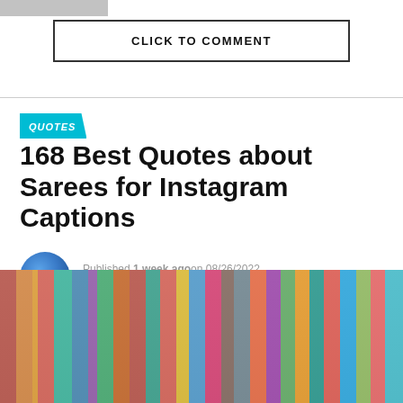[Figure (photo): Partial image strip at top left corner, cropped]
CLICK TO COMMENT
QUOTES
168 Best Quotes about Sarees for Instagram Captions
Published 1 week ago on 08/26/2022
By Jason Zhang
[Figure (photo): Hero image of colorful sarees hanging, slightly faded/washed out]